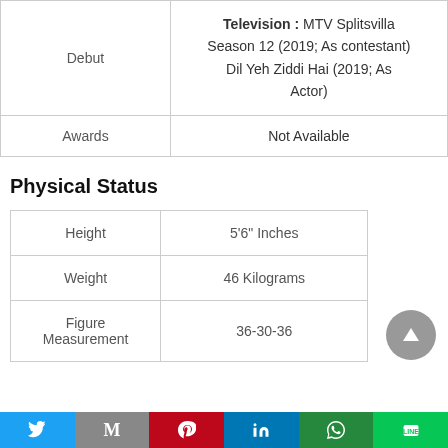|  |  |
| --- | --- |
| Debut | Television : MTV Splitsvilla Season 12 (2019; As contestant)
Dil Yeh Ziddi Hai (2019; As Actor) |
| Awards | Not Available |
Physical Status
|  |  |
| --- | --- |
| Height | 5'6" Inches |
| Weight | 46 Kilograms |
| Figure Measurement | 36-30-36 |
[Figure (other): Scroll to top circular button with upward arrow]
Twitter | Gmail | Pinterest | LinkedIn | WhatsApp | Line